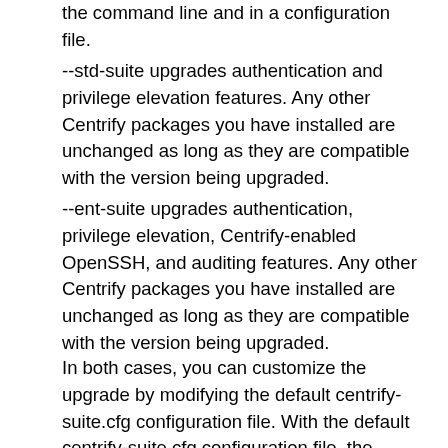the command line and in a configuration file.
--std-suite upgrades authentication and privilege elevation features. Any other Centrify packages you have installed are unchanged as long as they are compatible with the version being upgraded.
--ent-suite upgrades authentication, privilege elevation, Centrify-enabled OpenSSH, and auditing features. Any other Centrify packages you have installed are unchanged as long as they are compatible with the version being upgraded.
In both cases, you can customize the upgrade by modifying the default centrify-suite.cfg configuration file. With the default centrify-suite.cfg configuration file, the install.sh script upgrades the Centrify Agent access control and privilege management features or the